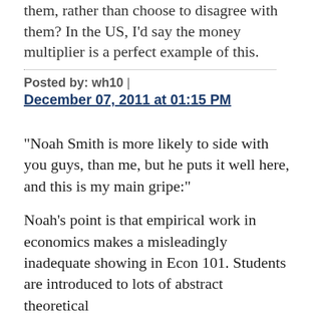them, rather than choose to disagree with them? In the US, I'd say the money multiplier is a perfect example of this.
Posted by: wh10 | December 07, 2011 at 01:15 PM
"Noah Smith is more likely to side with you guys, than me, but he puts it well here, and this is my main gripe:"
Noah's point is that empirical work in economics makes a misleadingly inadequate showing in Econ 101. Students are introduced to lots of abstract theoretical